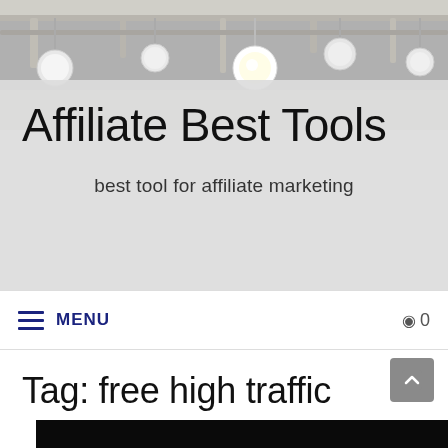[Figure (photo): Ceiling with hanging globe pendant lights in a modern interior space, gray/beige tones]
Affiliate Best Tools
best tool for affiliate marketing
MENU  0
Tag: free high traffic
[Figure (photo): Dark background image with a teal/cyan colored arrow or graphic element, partially visible at bottom of page]